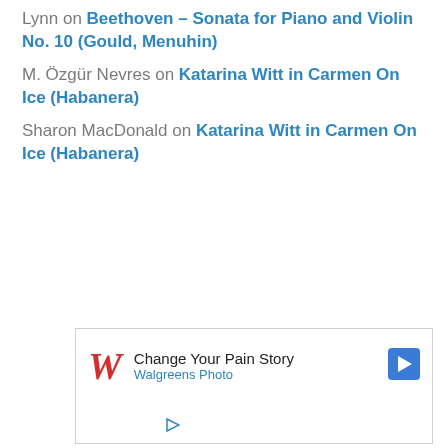Lynn on Beethoven – Sonata for Piano and Violin No. 10 (Gould, Menuhin)
M. Özgür Nevres on Katarina Witt in Carmen On Ice (Habanera)
Sharon MacDonald on Katarina Witt in Carmen On Ice (Habanera)
[Figure (other): Walgreens ad: Change Your Pain Story - Walgreens Photo]